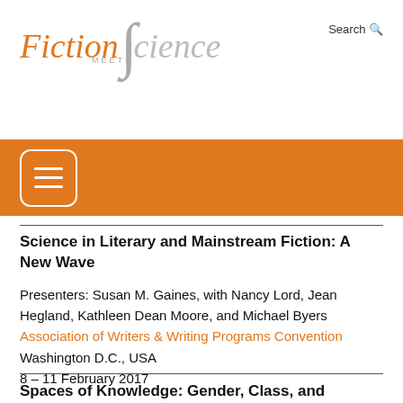Fiction Meets Science
Science in Literary and Mainstream Fiction: A New Wave
Presenters: Susan M. Gaines, with Nancy Lord, Jean Hegland, Kathleen Dean Moore, and Michael Byers
Association of Writers & Writing Programs Convention
Washington D.C., USA
8 – 11 February 2017
Spaces of Knowledge: Gender, Class, and Medicine